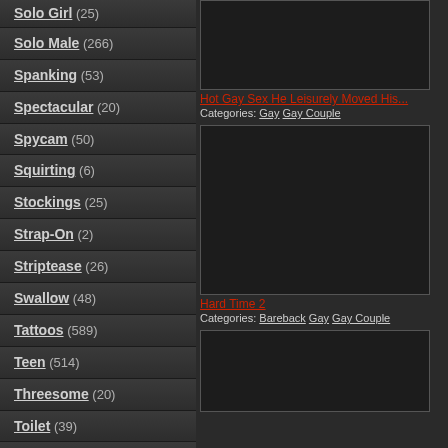Solo Male (266)
Spanking (53)
Spectacular (20)
Spycam (50)
Squirting (6)
Stockings (25)
Strap-On (2)
Striptease (26)
Swallow (48)
Tattoos (589)
Teen (514)
Threesome (20)
Toilet (39)
Toys (394)
Uniform (134)
Vaginal Masturbation (9)
[Figure (screenshot): Dark video thumbnail - top right area]
Hot Gay Sex He Leisurely Moved His... Categories: Gay Gay Couple
[Figure (screenshot): Dark video thumbnail - middle right area]
Hard Time 2 Categories: Bareback Gay Gay Couple
[Figure (screenshot): Dark video thumbnail - bottom right area]